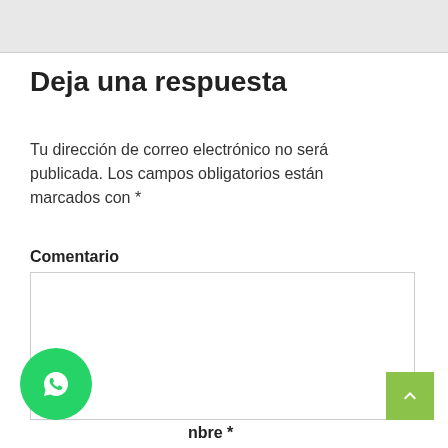Deja una respuesta
Tu dirección de correo electrónico no será publicada. Los campos obligatorios están marcados con *
Comentario
[Figure (screenshot): Empty textarea input field for comment]
Nombre *
[Figure (logo): WhatsApp floating button at bottom left]
[Figure (other): Back to top green button at bottom right with upward arrow]